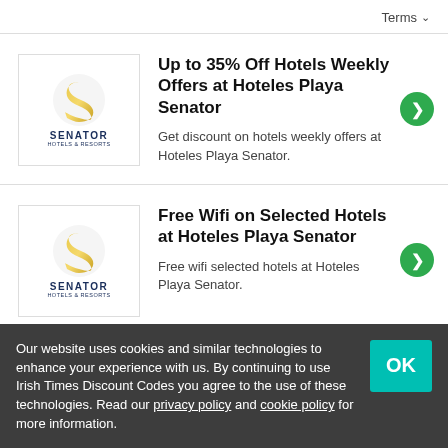Terms ∨
Up to 35% Off Hotels Weekly Offers at Hoteles Playa Senator
Get discount on hotels weekly offers at Hoteles Playa Senator.
Free Wifi on Selected Hotels at Hoteles Playa Senator
Free wifi selected hotels at Hoteles Playa Senator.
Our website uses cookies and similar technologies to enhance your experience with us. By continuing to use Irish Times Discount Codes you agree to the use of these technologies. Read our privacy policy and cookie policy for more information.